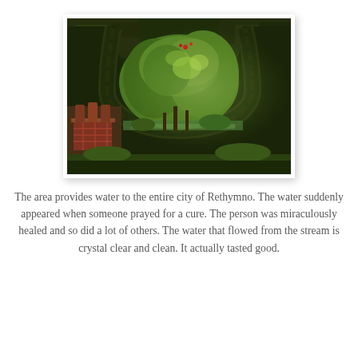[Figure (photo): A stone arch bridge or archway covered with greenery, with restaurant tables and chairs visible in the foreground, and lush green trees visible through the arch.]
The area provides water to the entire city of Rethymno. The water suddenly appeared when someone prayed for a cure. The person was miraculously healed and so did a lot of others. The water that flowed from the stream is crystal clear and clean. It actually tasted good.